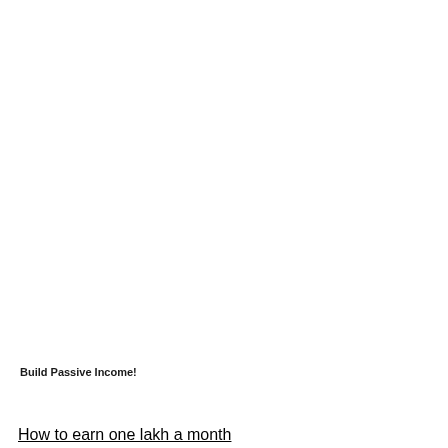Build Passive Income!
How to earn one lakh a month